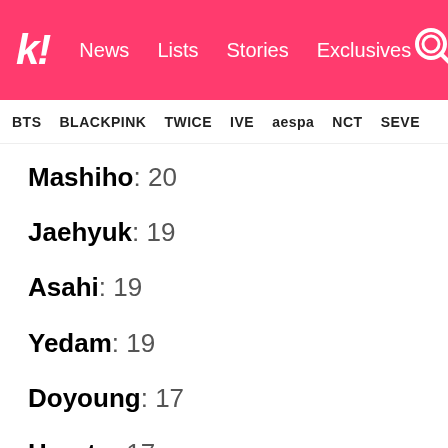k! News Lists Stories Exclusives
BTS BLACKPINK TWICE IVE aespa NCT SEVE
Mashiho: 20
Jaehyuk: 19
Asahi: 19
Yedam: 19
Doyoung: 17
Haruto: 17
Jeongwoo: 16
Junghwan: 16